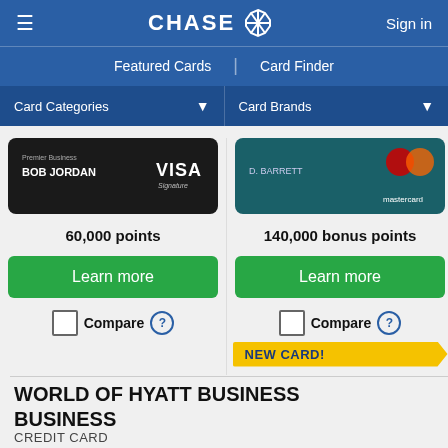CHASE — Sign in
Featured Cards | Card Finder
Card Categories ▾   Card Brands ▾
[Figure (screenshot): Two credit card product images side by side: Left card is Ink Business Premier VISA Signature (dark/black card, name: BOB JORDAN). Right card is a teal Mastercard (name: D. BARRETT).]
60,000 points
140,000 bonus points
Learn more
Learn more
Compare ?
Compare ?
NEW CARD!
WORLD OF HYATT BUSINESS
CREDIT CARD